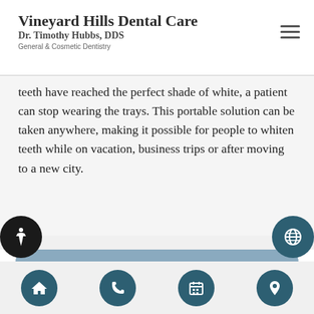Vineyard Hills Dental Care
Dr. Timothy Hubbs, DDS
General & Cosmetic Dentistry
teeth have reached the perfect shade of white, a patient can stop wearing the trays. This portable solution can be taken anywhere, making it possible for people to whiten teeth while on vacation, business trips or after moving to a new city.
Check out what others are saying about our teeth whitening services on Yelp: Teeth Whitening Livermore